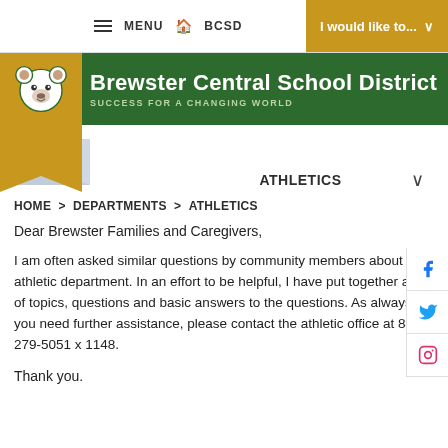Brewster Central School District — SUCCESS FOR A CHANGING WORLD
ATHLETICS
HOME > DEPARTMENTS > ATHLETICS
Dear Brewster Families and Caregivers,
I am often asked similar questions by community members about the athletic department. In an effort to be helpful, I have put together a list of topics, questions and basic answers to the questions. As always, if you need further assistance, please contact the athletic office at 845-279-5051 x 1148.
Thank you.